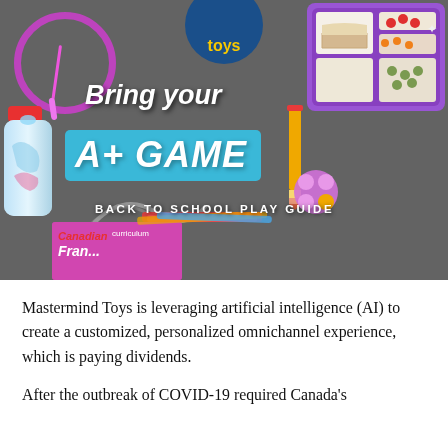[Figure (photo): Mastermind Toys 'Bring your A+ GAME - Back to School Play Guide' promotional image showing school supplies and toys on a dark chalkboard background including a jump rope, water bottle, lunchbox, pencil, books, and a pink toy]
Mastermind Toys is leveraging artificial intelligence (AI) to create a customized, personalized omnichannel experience, which is paying dividends.
After the outbreak of COVID-19 required Canada's